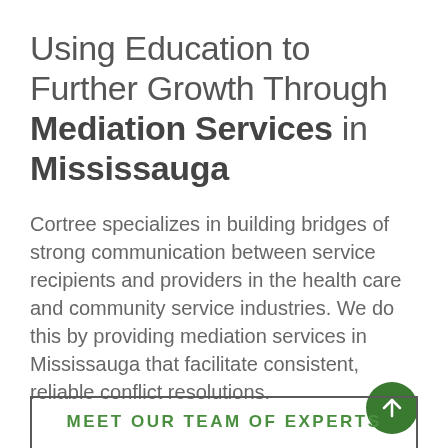Using Education to Further Growth Through Mediation Services in Mississauga
Cortree specializes in building bridges of strong communication between service recipients and providers in the health care and community service industries. We do this by providing mediation services in Mississauga that facilitate consistent, reliable conflict resolutions.
MEET OUR TEAM OF EXPERTS